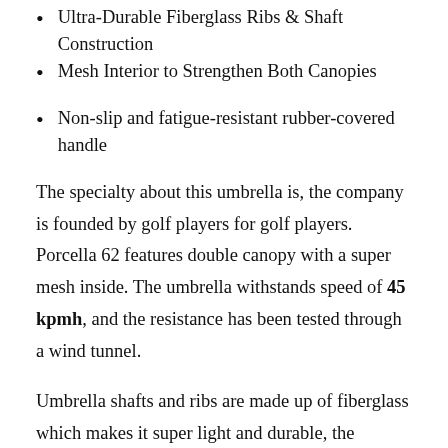Ultra-Durable Fiberglass Ribs & Shaft Construction
Mesh Interior to Strengthen Both Canopies
Non-slip and fatigue-resistant rubber-covered handle
The specialty about this umbrella is, the company is founded by golf players for golf players. Porcella 62 features double canopy with a super mesh inside. The umbrella withstands speed of 45 kpmh, and the resistance has been tested through a wind tunnel.
Umbrella shafts and ribs are made up of fiberglass which makes it super light and durable, the umbrella weighs only 1.7 pounds. Designed with super unique inner mesh to provide enough strength to the